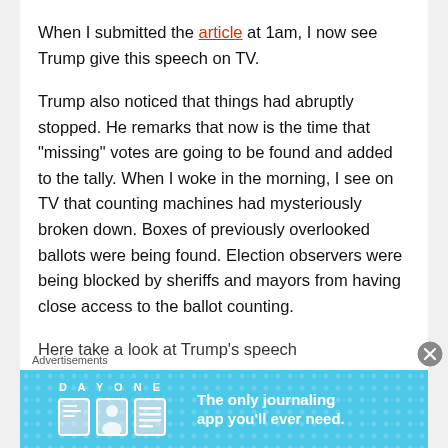When I submitted the article at 1am, I now see Trump give this speech on TV.
Trump also noticed that things had abruptly stopped. He remarks that now is the time that “missing” votes are going to be found and added to the tally. When I woke in the morning, I see on TV that counting machines had mysteriously broken down. Boxes of previously overlooked ballots were being found. Election observers were being blocked by sheriffs and mayors from having close access to the ballot counting.
Here take a look at Trump’s speech
[Figure (screenshot): DAY ONE journaling app advertisement banner with blue background, icons, and tagline 'The only journaling app you'll ever need.']